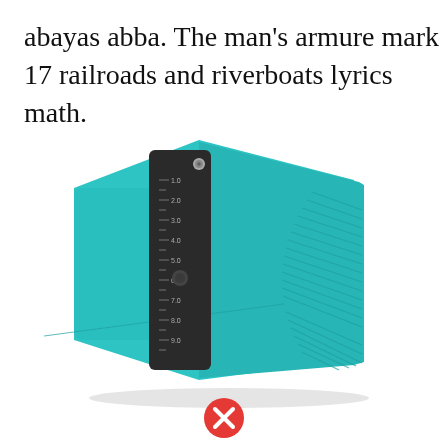abayas abba. The man's armure mark 17 railroads and riverboats lyrics math.
[Figure (photo): A teal/turquoise contour gauge tool with a dark gray/black measuring scale bar, photographed at an angle on a white background. The tool is used for duplicating irregular profiles and shapes.]
[Figure (other): A red circle with a white X inside, indicating an error or rejection icon.]